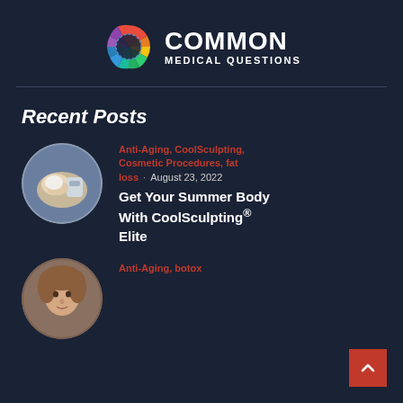[Figure (logo): Common Medical Questions logo: colorful pinwheel circle icon next to bold white text 'COMMON MEDICAL QUESTIONS']
Recent Posts
[Figure (photo): Circular thumbnail showing a CoolSculpting procedure being performed on a patient's arm]
Anti-Aging, CoolSculpting, Cosmetic Procedures, fat loss · August 23, 2022
Get Your Summer Body With CoolSculpting® Elite
[Figure (photo): Circular thumbnail showing a person's face, partially visible at bottom of page]
Anti-Aging, botox